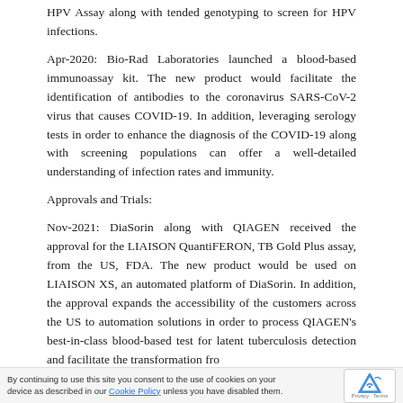HPV Assay along with tended genotyping to screen for HPV infections.
Apr-2020: Bio-Rad Laboratories launched a blood-based immunoassay kit. The new product would facilitate the identification of antibodies to the coronavirus SARS-CoV-2 virus that causes COVID-19. In addition, leveraging serology tests in order to enhance the diagnosis of the COVID-19 along with screening populations can offer a well-detailed understanding of infection rates and immunity.
Approvals and Trials:
Nov-2021: DiaSorin along with QIAGEN received the approval for the LIAISON QuantiFERON, TB Gold Plus assay, from the US, FDA. The new product would be used on LIAISON XS, an automated platform of DiaSorin. In addition, the approval expands the accessibility of the customers across the US to automation solutions in order to process QIAGEN's best-in-class blood-based test for latent tuberculosis detection and facilitate the transformation fro...
By continuing to use this site you consent to the use of cookies on your device as described in our Cookie Policy unless you have disabled them.